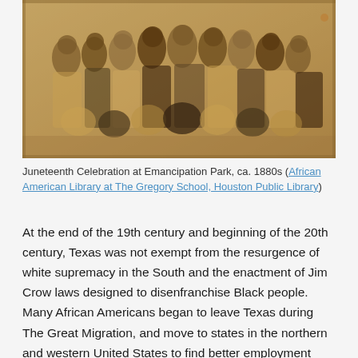[Figure (photo): Sepia-toned historical photograph of a large group of people gathered for Juneteenth Celebration at Emancipation Park, circa 1880s. Men, women, and children posed together in formal attire.]
Juneteenth Celebration at Emancipation Park, ca. 1880s (African American Library at The Gregory School, Houston Public Library)
At the end of the 19th century and beginning of the 20th century, Texas was not exempt from the resurgence of white supremacy in the South and the enactment of Jim Crow laws designed to disenfranchise Black people.  Many African Americans began to leave Texas during The Great Migration, and move to states in the northern and western United States to find better employment opportunities and escape racial injustice. Although people carried their traditions with them, factors such as family distance and working in